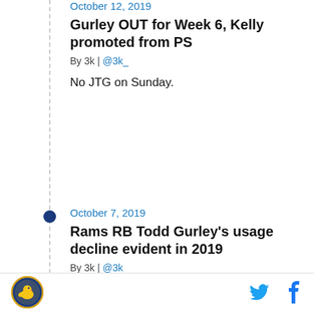October 12, 2019
Gurley OUT for Week 6, Kelly promoted from PS
By 3k | @3k_
No JTG on Sunday.
October 7, 2019
Rams RB Todd Gurley’s usage decline evident in 2019
By 3k | @3k_
Just Todd is just not getting the opportunities he did in 2018.
October 2, 2019
[Figure (logo): Website logo - bird/sports mascot in blue and yellow circle]
[Figure (illustration): Twitter bird icon in cyan blue]
[Figure (illustration): Facebook f icon in blue]